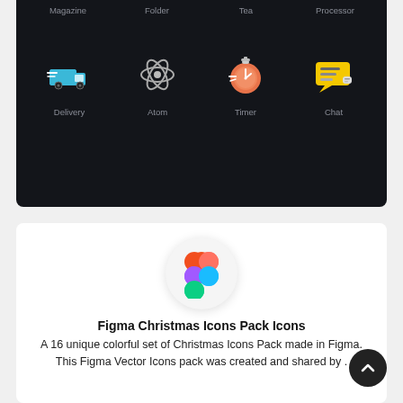[Figure (illustration): Dark background icon grid showing icons: Magazine, Folder, Tea, Processor (top row, partially visible) and Delivery (blue truck), Atom (grey atom), Timer (orange stopwatch), Chat (yellow speech bubble) with labels below each.]
[Figure (logo): Figma logo — colorful F-shaped logo with red, purple, blue, and green circles on a light circular background.]
Figma Christmas Icons Pack Icons
A 16 unique colorful set of Christmas Icons Pack made in Figma. This Figma Vector Icons pack was created and shared by .